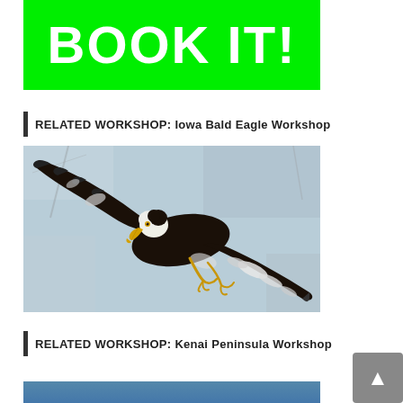[Figure (other): Green banner with large white bold text reading BOOK IT!]
RELATED WORKSHOP: Iowa Bald Eagle Workshop
[Figure (photo): A bald eagle in flight with wings spread wide against a blue-grey sky background, showing dark feathers with white head and tail feathers, and yellow beak and talons.]
RELATED WORKSHOP: Kenai Peninsula Workshop